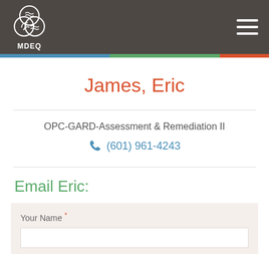MDEQ
James, Eric
OPC-GARD-Assessment & Remediation II
(601) 961-4243
Email Eric:
Your Name *